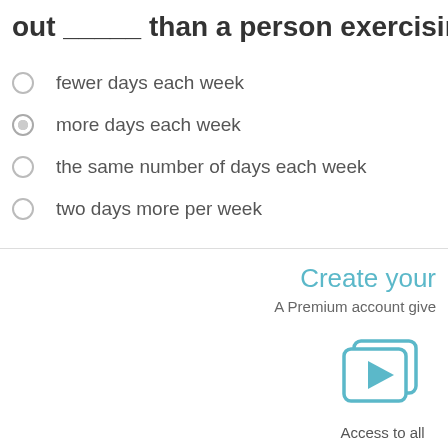out ____ than a person exercising at a LOW
fewer days each week
more days each week
the same number of days each week
two days more per week
Create your
A Premium account give
[Figure (illustration): Teal video play button icon with two overlapping rectangles]
Access to all video lessons